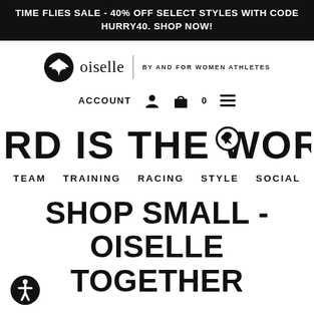TIME FLIES SALE - 40% OFF SELECT STYLES WITH CODE HURRY40. SHOP NOW!
[Figure (logo): Oiselle logo with bird icon, brand name 'oiselle', divider, and tagline 'BY AND FOR WOMEN ATHLETES']
ACCOUNT  0  ≡
[Figure (illustration): BIRD IS THE WORD text in large bold distressed font with a bird/runner icon inside the O of WORD]
TEAM   TRAINING   RACING   STYLE   SOCIAL
SHOP SMALL - OISELLE TOGETHER